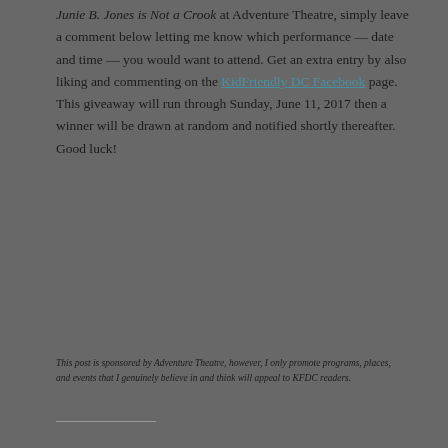Junie B. Jones is Not a Crook at Adventure Theatre, simply leave a comment below letting me know which performance — date and time — you would want to attend. Get an extra entry by also liking and commenting on the KidFriendly DC Facebook page. This giveaway will run through Sunday, June 11, 2017 then a winner will be drawn at random and notified shortly thereafter. Good luck!
This post is sponsored by Adventure Theatre, however, I only promote programs, places, and events that I genuinely believe in and think will appeal to KFDC readers.